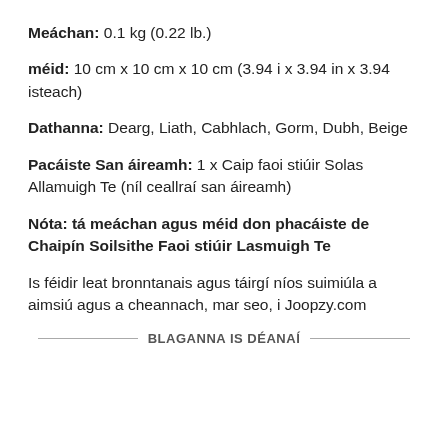Meáchan: 0.1 kg (0.22 lb.)
méid: 10 cm x 10 cm x 10 cm (3.94 i x 3.94 in x 3.94 isteach)
Dathanna: Dearg, Liath, Cabhlach, Gorm, Dubh, Beige
Pacáiste San áireamh: 1 x Caip faoi stiúir Solas Allamuigh Te (níl ceallraí san áireamh)
Nóta: tá meáchan agus méid don phacáiste de Chaipín Soilsithe Faoi stiúir Lasmuigh Te
Is féidir leat bronntanais agus táirgí níos suimiúla a aimsiú agus a cheannach, mar seo, i Joopzy.com
BLAGANNA IS DÉANAÍ